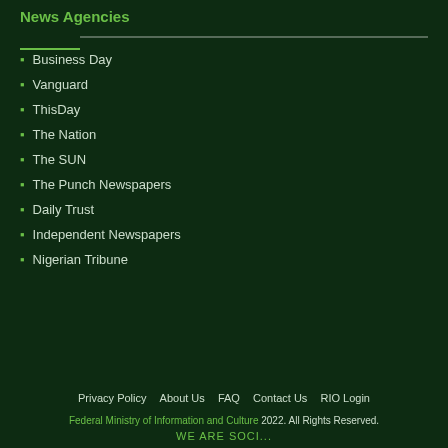News Agencies
Business Day
Vanguard
ThisDay
The Nation
The SUN
The Punch Newspapers
Daily Trust
Independent Newspapers
Nigerian Tribune
Privacy Policy   About Us   FAQ   Contact Us   RIO Login
Federal Ministry of Information and Culture 2022. All Rights Reserved.
WE ARE SOCI...